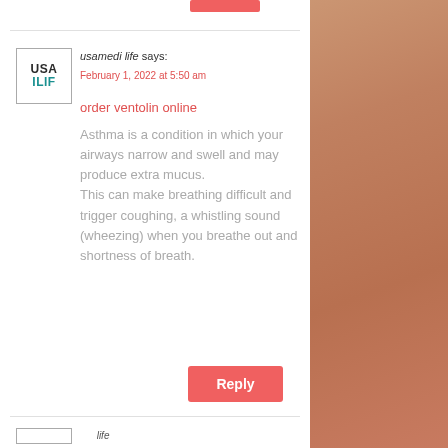usamedi life says:
February 1, 2022 at 5:50 am
order ventolin online
Asthma is a condition in which your airways narrow and swell and may produce extra mucus. This can make breathing difficult and trigger coughing, a whistling sound (wheezing) when you breathe out and shortness of breath.
Reply